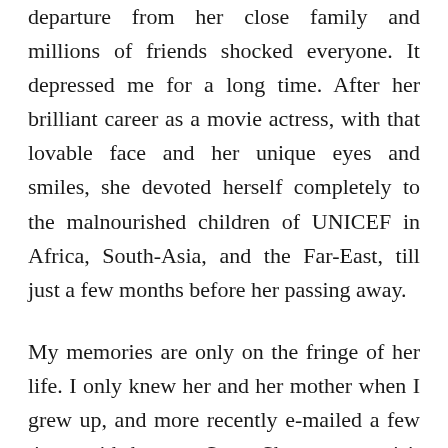departure from her close family and millions of friends shocked everyone. It depressed me for a long time. After her brilliant career as a movie actress, with that lovable face and her unique eyes and smiles, she devoted herself completely to the malnourished children of UNICEF in Africa, South-Asia, and the Far-East, till just a few months before her passing away.
My memories are only on the fringe of her life. I only knew her and her mother when I grew up, and more recently e-mailed a few times with her son Sean. She came to visit my grandparents with her mother and grandfather during World War II when they lived near Arnhem because they were family and good friends, and my grandparents lived close by. I happened to